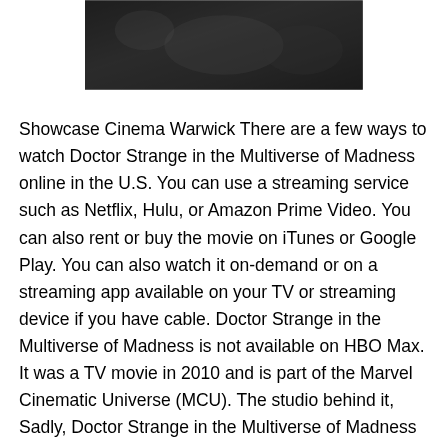[Figure (photo): Dark/blurred image at the top of the page, appears to be a movie or entertainment-related photo with dark tones]
Showcase Cinema Warwick There are a few ways to watch Doctor Strange in the Multiverse of Madness online in the U.S. You can use a streaming service such as Netflix, Hulu, or Amazon Prime Video. You can also rent or buy the movie on iTunes or Google Play. You can also watch it on-demand or on a streaming app available on your TV or streaming device if you have cable. Doctor Strange in the Multiverse of Madness is not available on HBO Max. It was a TV movie in 2010 and is part of the Marvel Cinematic Universe (MCU). The studio behind it, Sadly, Doctor Strange in the Multiverse of Madness is not available to watch on any streaming service right now. However, fans can enjoy it from further afield f